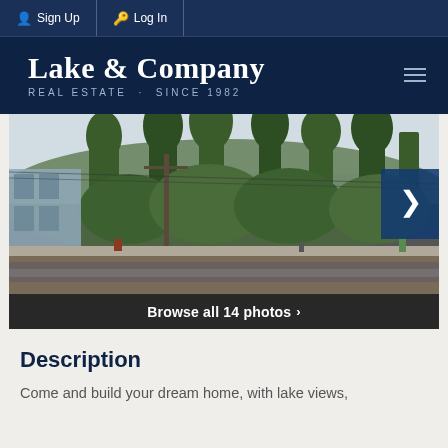Sign Up  Log In
Lake & Company
REAL ESTATE · SINCE 1982
[Figure (photo): Outdoor photo of a wooded hillside lot with tall trees viewed from across a road, with a building visible on the left, overcast sky. Caption bar reads 'Browse all 14 photos >']
Description
Come and build your dream home, with lake views,